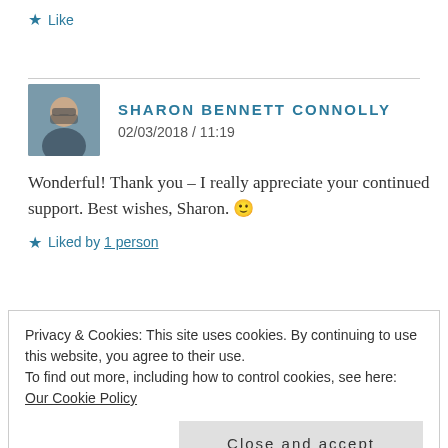★ Like
SHARON BENNETT CONNOLLY
02/03/2018 / 11:19
Wonderful! Thank you – I really appreciate your continued support. Best wishes, Sharon. 🙂
★ Liked by 1 person
Privacy & Cookies: This site uses cookies. By continuing to use this website, you agree to their use.
To find out more, including how to control cookies, see here: Our Cookie Policy
Close and accept
I would love a copy. 🙂 I love your site!